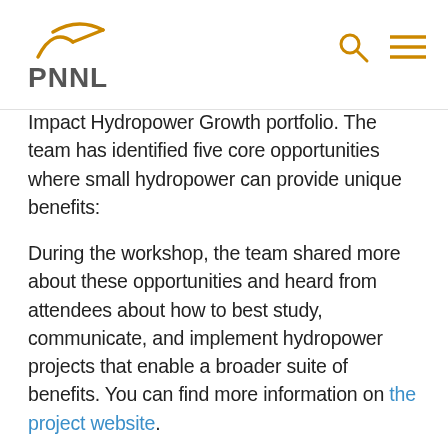PNNL
Impact Hydropower Growth portfolio. The team has identified five core opportunities where small hydropower can provide unique benefits:
During the workshop, the team shared more about these opportunities and heard from attendees about how to best study, communicate, and implement hydropower projects that enable a broader suite of benefits. You can find more information on the project website.
The workshop provided an opportunity to discuss: